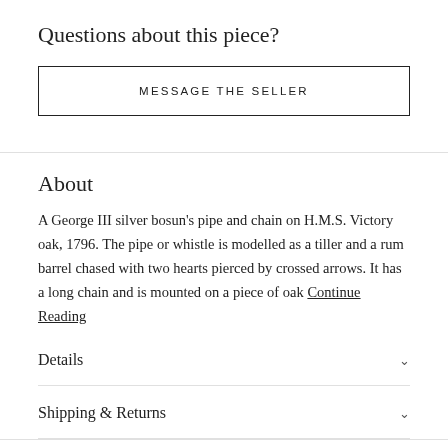Questions about this piece?
MESSAGE THE SELLER
About
A George III silver bosun's pipe and chain on H.M.S. Victory oak, 1796. The pipe or whistle is modelled as a tiller and a rum barrel chased with two hearts pierced by crossed arrows. It has a long chain and is mounted on a piece of oak Continue Reading
Details
Shipping & Returns